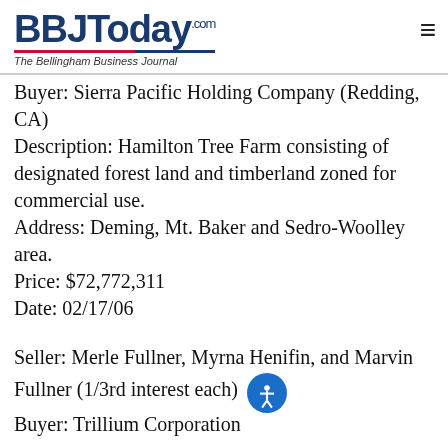BBJToday.com — The Bellingham Business Journal
Buyer: Sierra Pacific Holding Company (Redding, CA)
Description: Hamilton Tree Farm consisting of designated forest land and timberland zoned for commercial use.
Address: Deming, Mt. Baker and Sedro-Woolley area.
Price: $72,772,311
Date: 02/17/06
Seller: Merle Fullner, Myrna Henifin, and Marvin Fullner (1/3rd interest each)
Buyer: Trillium Corporation